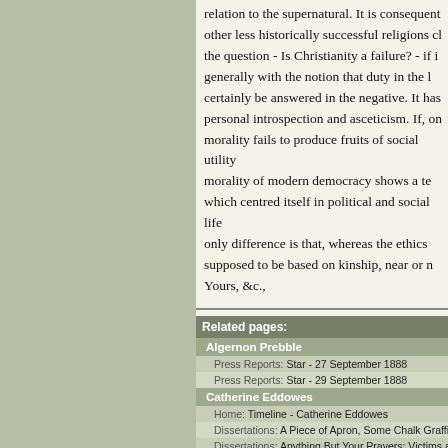relation to the supernatural. It is consequent other less historically successful religions cl the question - Is Christianity a failure? - if i generally with the notion that duty in the l certainly be answered in the negative. It has personal introspection and asceticism. If, on morality fails to produce fruits of social utility morality of modern democracy shows a te which centred itself in political and social life only difference is that, whereas the ethics supposed to be based on kinship, near or n Yours, &c.,
| Related pages: |
| --- |
| Algernon Prebble |
| Press Reports: Star - 27 September 1888 |
| Press Reports: Star - 29 September 1888 |
| Catherine Eddowes |
| Home: Timeline - Catherine Eddowes |
| Dissertations: A Piece of Apron, Some Chalk Graffiti and a |
| Dissertations: Anything But Your Prayers: Victims and Wi |
| Dissertations: By Accident or Design? A Critical Analysis o |
| Dissertations: Catherine Eddowes: Wolverhampton and Bi |
| Dissertations: Double Trouble: Elizabeth Stride and Cathe |
| Dissertations: Grave-Spitting & Other Tall Tales |
| Dissertations: Hyam Hyams |
| Dissertations: May My End A Warning Be: Catherine Ed |